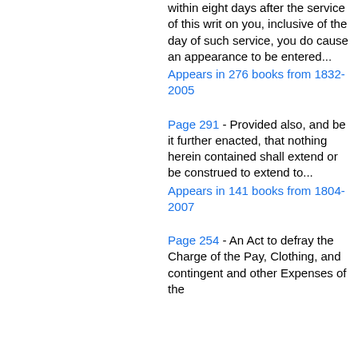within eight days after the service of this writ on you, inclusive of the day of such service, you do cause an appearance to be entered...
Appears in 276 books from 1832-2005
Page 291 - Provided also, and be it further enacted, that nothing herein contained shall extend or be construed to extend to...
Appears in 141 books from 1804-2007
Page 254 - An Act to defray the Charge of the Pay, Clothing, and contingent and other Expenses of the